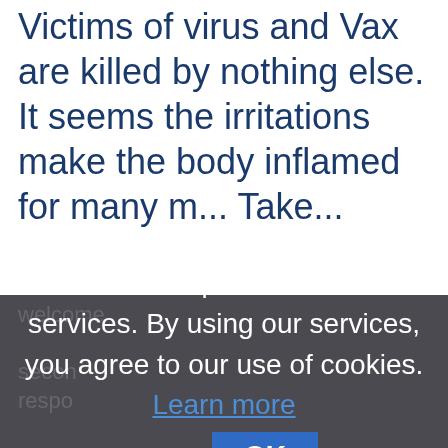Victims of virus and Vax are killed by nothing else. It seems the irritations make the body inflamed for many m... Take...
Cookies help us deliver our services. By using our services, you agree to our use of cookies. Learn more  OK